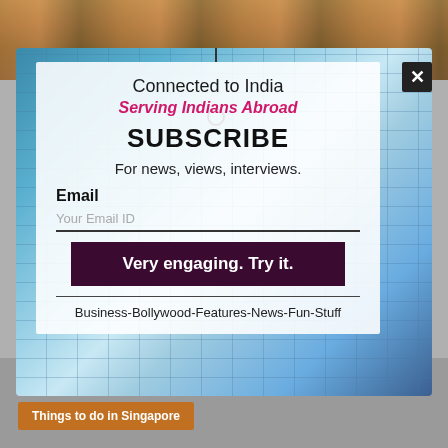[Figure (screenshot): Website popup modal for 'Connected to India - Serving Indians Abroad' newsletter subscription, overlaid on a background with performers at top and a blue glass building. Modal contains title, pink subtitle, SUBSCRIBE heading, description, email input field, dark maroon submit button, and category tags.]
Connected to India
Serving Indians Abroad
SUBSCRIBE
For news, views, interviews.
Email
Your Email ID
Very engaging. Try it.
Business-Bollywood-Features-News-Fun-Stuff
Things to do in Singapore